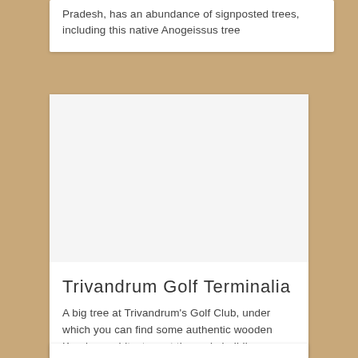Pradesh, has an abundance of signposted trees, including this native Anogeissus tree
[Figure (photo): Large white/blank photo area representing a tree at Trivandrum Golf Club]
Trivandrum Golf Terminalia
A big tree at Trivandrum's Golf Club, under which you can find some authentic wooden Keralan architecture at the main building